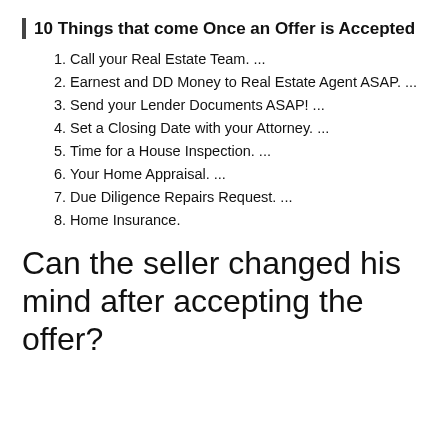10 Things that come Once an Offer is Accepted
1. Call your Real Estate Team. ...
2. Earnest and DD Money to Real Estate Agent ASAP. ...
3. Send your Lender Documents ASAP! ...
4. Set a Closing Date with your Attorney. ...
5. Time for a House Inspection. ...
6. Your Home Appraisal. ...
7. Due Diligence Repairs Request. ...
8. Home Insurance.
Can the seller changed his mind after accepting the offer?